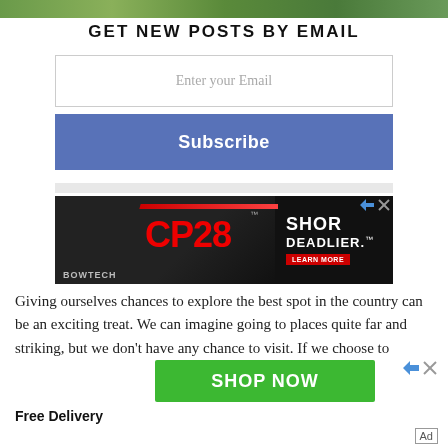[Figure (photo): Top strip showing partial nature/outdoor photo in green tones]
GET NEW POSTS BY EMAIL
Enter your Email
Subscribe
[Figure (other): Bowtech CP28 bow advertisement banner: dark background with red CP28 logo, SHOR DEADLIER text, LEARN MORE button]
Giving ourselves chances to explore the best spot in the country can be an exciting treat. We can imagine going to places quite far and striking, but we don't have any chance to visit. If we choose to
[Figure (other): Green SHOP NOW advertisement button]
Free Delivery
Ad